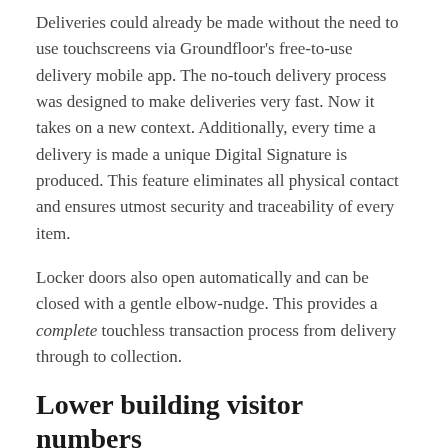Deliveries could already be made without the need to use touchscreens via Groundfloor's free-to-use delivery mobile app. The no-touch delivery process was designed to make deliveries very fast. Now it takes on a new context. Additionally, every time a delivery is made a unique Digital Signature is produced. This feature eliminates all physical contact and ensures utmost security and traceability of every item.
Locker doors also open automatically and can be closed with a gentle elbow-nudge. This provides a complete touchless transaction process from delivery through to collection.
Lower building visitor numbers
A case study conducted by Groundfloor™ in a commercial setting has demonstrated parcel management systems redirect courier traffic to the one location.